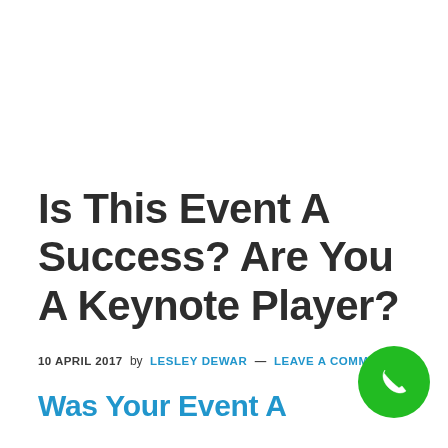Is This Event A Success? Are You A Keynote Player?
10 APRIL 2017  by  LESLEY DEWAR — LEAVE A COMMENT
Was Your Event A